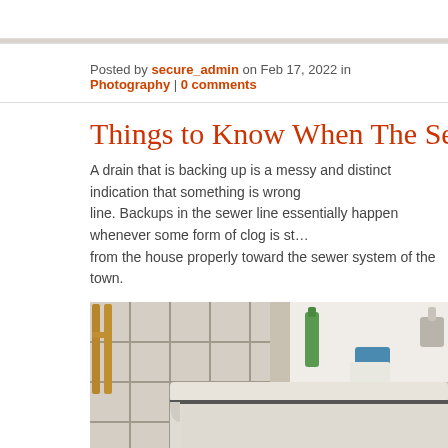Posted by secure_admin on Feb 17, 2022 in Photography | 0 comments
Things to Know When The Sewer is Bac…
A drain that is backing up is a messy and distinct indication that something is wrong with the sewer line. Backups in the sewer line essentially happen whenever some form of clog is stopping waste from the house properly toward the sewer system of the town.
[Figure (photo): Photo of a bathroom bathtub with murky sewage water backed up in it, tile floor visible, a green bottle and blue sponge near sink in background, wooden stool visible at left.]